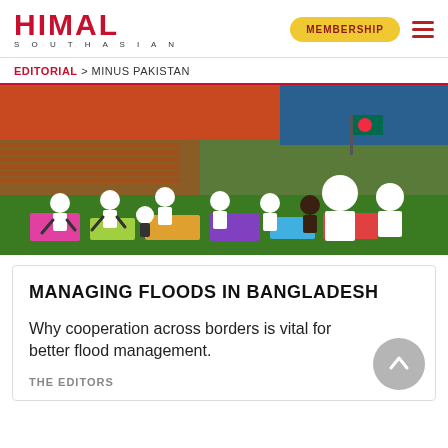HIMAL SOUTHASIAN
MEMBERSHIP
EDITORIAL > MINUS PAKISTAN
[Figure (photo): Large group of people doing yoga or stretching exercises on colorful mats on a sports field/stadium, wearing white t-shirts, with stadium seating visible in background.]
MANAGING FLOODS IN BANGLADESH
Why cooperation across borders is vital for better flood management.
THE EDITORS